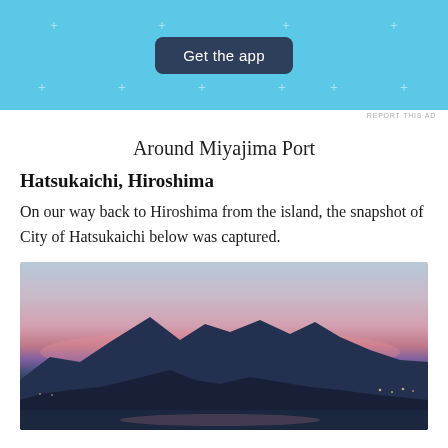[Figure (screenshot): Blue advertisement banner with a dark navy 'Get the app' button centered, and small plus marks scattered around the banner background.]
REPORT THIS AD
Around Miyajima Port
Hatsukaichi, Hiroshima
On our way back to Hiroshima from the island, the snapshot of City of Hatsukaichi below was captured.
[Figure (photo): Twilight/dusk photograph of the City of Hatsukaichi viewed from the water, showing silhouetted mountains against a pink and purple sunset sky with reflections on the water.]